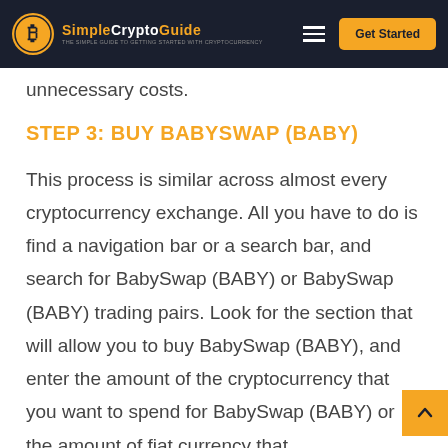SimpleCryptoGuide — Get Started
unnecessary costs.
STEP 3: BUY BABYSWAP (BABY)
This process is similar across almost every cryptocurrency exchange. All you have to do is find a navigation bar or a search bar, and search for BabySwap (BABY) or BabySwap (BABY) trading pairs. Look for the section that will allow you to buy BabySwap (BABY), and enter the amount of the cryptocurrency that you want to spend for BabySwap (BABY) or the amount of fiat currency that